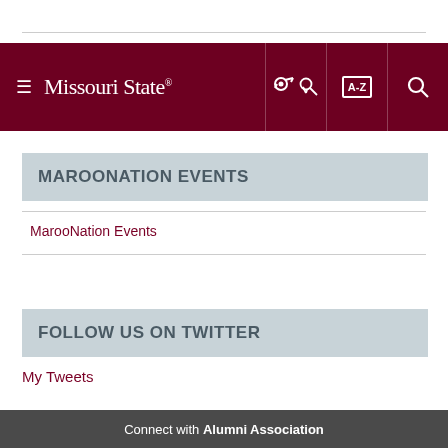Missouri State
MAROONATION EVENTS
MarooNation Events
FOLLOW US ON TWITTER
My Tweets
Connect with Alumni Association